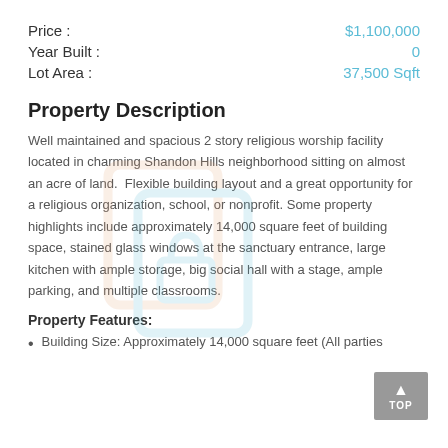Price : $1,100,000
Year Built : 0
Lot Area : 37,500 Sqft
Property Description
Well maintained and spacious 2 story religious worship facility located in charming Shandon Hills neighborhood sitting on almost an acre of land.  Flexible building layout and a great opportunity for a religious organization, school, or nonprofit. Some property highlights include approximately 14,000 square feet of building space, stained glass windows at the sanctuary entrance, large kitchen with ample storage, big social hall with a stage, ample parking, and multiple classrooms.
Property Features:
Building Size: Approximately 14,000 square feet (All parties